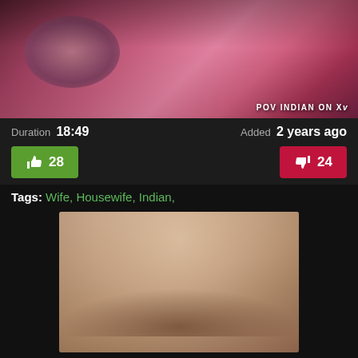[Figure (photo): Video thumbnail showing a woman lying on a pink pillow/bedding. Text overlay reads 'POV INDIAN ON XV' in the bottom right corner.]
Duration  18:49        Added  2 years ago
👍 28      👎 24
Tags:  Wife,  Housewife,  Indian,
[Figure (photo): Video thumbnail showing a blonde woman from close up.]